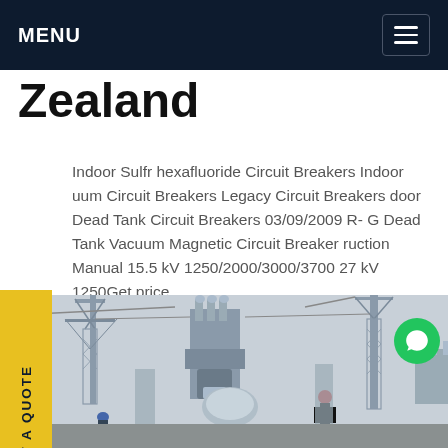MENU
Zealand
Indoor Sulfr hexafluoride Circuit Breakers Indoor uum Circuit Breakers Legacy Circuit Breakers door Dead Tank Circuit Breakers 03/09/2009 R-G Dead Tank Vacuum Magnetic Circuit Breaker ruction Manual 15.5 kV 1250/2000/3000/3700 27 kV 1250Get price
[Figure (photo): Outdoor electrical substation with high voltage equipment, transmission towers, and a worker in a red hard hat inspecting machinery.]